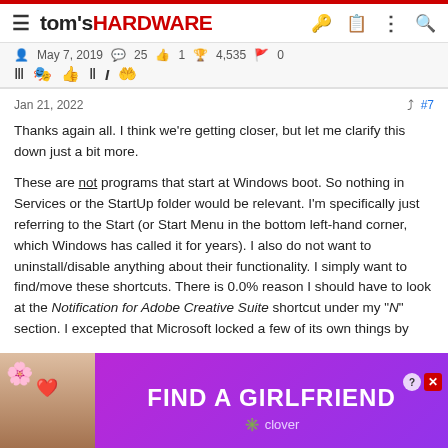tom's HARDWARE
May 7, 2019  25  1  4,535  0
Jan 21, 2022  #7
Thanks again all. I think we're getting closer, but let me clarify this down just a bit more.

These are not programs that start at Windows boot. So nothing in Services or the StartUp folder would be relevant. I'm specifically just referring to the Start (or Start Menu in the bottom left-hand corner, which Windows has called it for years). I also do not want to uninstall/disable anything about their functionality. I simply want to find/move these shortcuts. There is 0.0% reason I should have to look at the Notification for Adobe Creative Suite shortcut under my "N" section. I excepted that Microsoft locked a few of its own things by
[Figure (advertisement): FIND A GIRLFRIEND ad banner with clover branding, purple/magenta gradient background with woman photo on left]